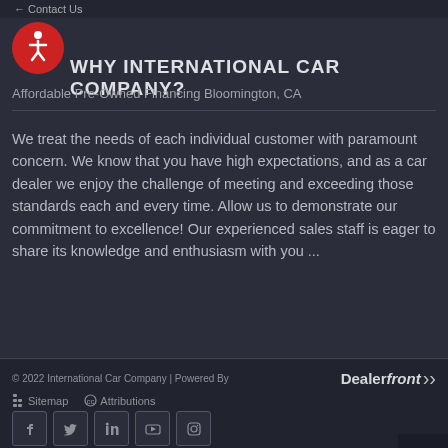Contact Us
WHY INTERNATIONAL CAR COMPANY?
Affordable Pre-Owned Financing Bloomington, CA
We treat the needs of each individual customer with paramount concern. We know that you have high expectations, and as a car dealer we enjoy the challenge of meeting and exceeding those standards each and every time. Allow us to demonstrate our commitment to excellence! Our experienced sales staff is eager to share its knowledge and enthusiasm with you ...
© 2022 International Car Company | Powered By Dealerfront | Sitemap | Attributions | Privacy Policy | Electronic Disclosure | Federal / State Notices